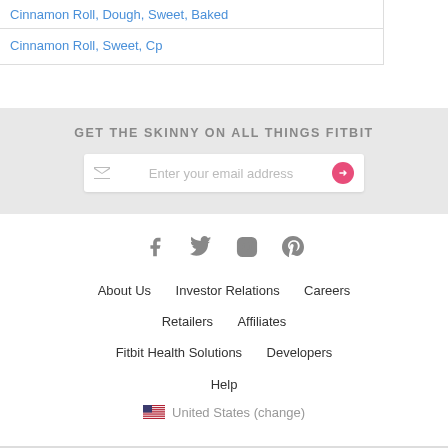| Cinnamon Roll, Dough, Sweet, Baked |
| Cinnamon Roll, Sweet, Cp |
GET THE SKINNY ON ALL THINGS FITBIT
Enter your email address
[Figure (infographic): Social media icons: Facebook, Twitter, Instagram, Pinterest]
About Us
Investor Relations
Careers
Retailers
Affiliates
Fitbit Health Solutions
Developers
Help
United States (change)